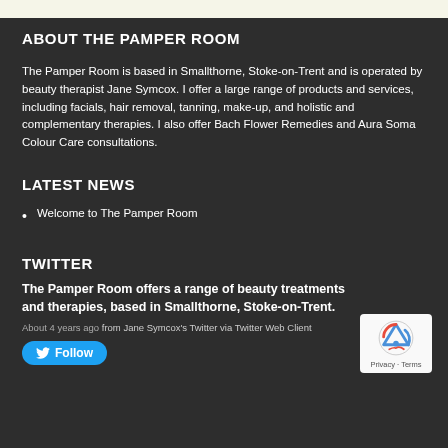ABOUT THE PAMPER ROOM
The Pamper Room is based in Smallthorne, Stoke-on-Trent and is operated by beauty therapist Jane Symcox. I offer a large range of products and services, including facials, hair removal, tanning, make-up, and holistic and complementary therapies. I also offer Bach Flower Remedies and Aura Soma Colour Care consultations.
LATEST NEWS
Welcome to The Pamper Room
TWITTER
The Pamper Room offers a range of beauty treatments and therapies, based in Smallthorne, Stoke-on-Trent.
About 4 years ago from Jane Symcox's Twitter via Twitter Web Client
[Figure (logo): Twitter Follow button with bird icon]